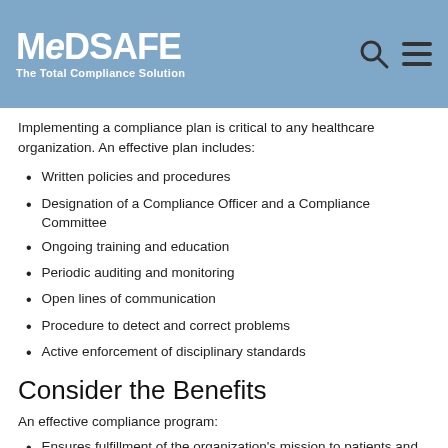MedSafe – The Total Compliance Solution
Implementing a compliance plan is critical to any healthcare organization. An effective plan includes:
Written policies and procedures
Designation of a Compliance Officer and a Compliance Committee
Ongoing training and education
Periodic auditing and monitoring
Open lines of communication
Procedure to detect and correct problems
Active enforcement of disciplinary standards
Consider the Benefits
An effective compliance program:
Ensures fulfillment of the organization's mission to patients and community